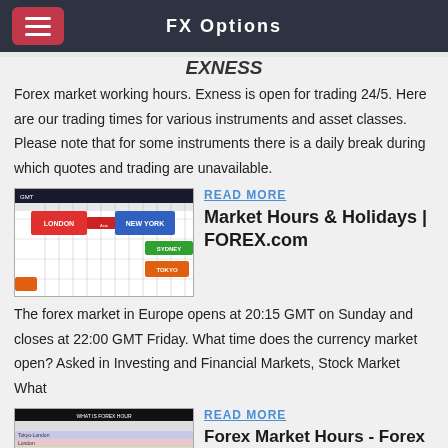FX Options
EXNESS
Forex market working hours. Exness is open for trading 24/5. Here are our trading times for various instruments and asset classes. Please note that for some instruments there is a daily break during which quotes and trading are unavailable.
[Figure (table-as-image): Forex market hours grid showing London, North American, Sydney, Tokyo sessions across time zones]
READ MORE
Market Hours & Holidays | FOREX.com
The forex market in Europe opens at 20:15 GMT on Sunday and closes at 22:00 GMT Friday. What time does the currency market open? Asked in Investing and Financial Markets, Stock Market What
[Figure (table-as-image): Forex market hours grid/chart showing trading hours across different markets]
READ MORE
Forex Market Hours - Forex Market Time Converter